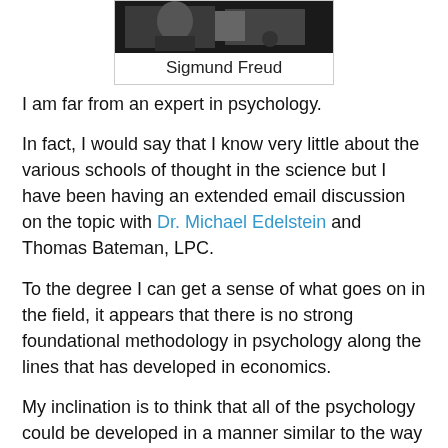[Figure (photo): Black and white photograph of Sigmund Freud]
Sigmund Freud
I am far from an expert in psychology.
In fact, I would say that I know very little about the various schools of thought in the science but I have been having an extended email discussion on the topic with Dr. Michael Edelstein and Thomas Bateman, LPC.
To the degree I can get a sense of what goes on in the field, it appears that there is no strong foundational methodology in psychology along the lines that has developed in economics.
My inclination is to think that all of the psychology could be developed in a manner similar to the way Ludwig von Mises developed economics. That is a few basic principles that include very broad empirical observations followed by spinning out theory by deduction.